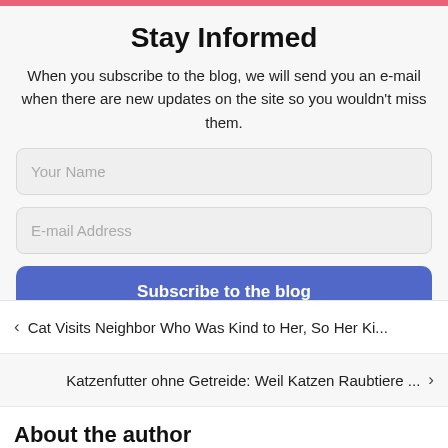Stay Informed
When you subscribe to the blog, we will send you an e-mail when there are new updates on the site so you wouldn't miss them.
Your Name
E-mail Address
Subscribe to the blog
< Cat Visits Neighbor Who Was Kind to Her, So Her Ki...
Katzenfutter ohne Getreide: Weil Katzen Raubtiere ... >
About the author